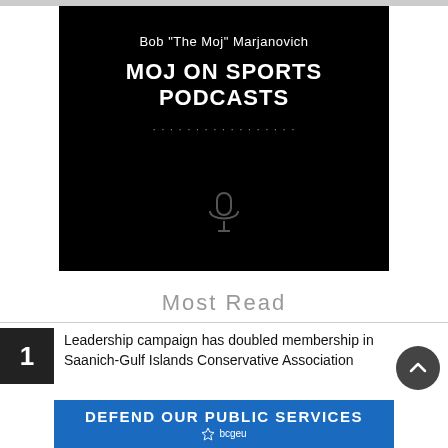[Figure (screenshot): Podcast thumbnail with black background showing Bob 'The Moj' Marjanovich - MOJ ON SPORTS PODCASTS title and a microphone icon]
Most Read
Leadership campaign has doubled membership in Saanich-Gulf Islands Conservative Association
[Figure (other): Advertisement banner: DEFEND OUR PUBLIC SERVICES - bcgeu logo]